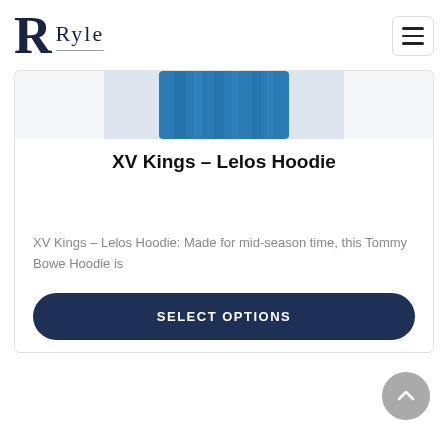[Figure (logo): Ryle brand logo with stylized R and underlined text 'Ryle']
[Figure (photo): Product photo of XV Kings Lelos Hoodie in blue, partially cropped at top of card]
XV Kings – Lelos Hoodie
XV Kings – Lelos Hoodie: Made for mid-season time, this Tommy Bowe Hoodie is
SELECT OPTIONS